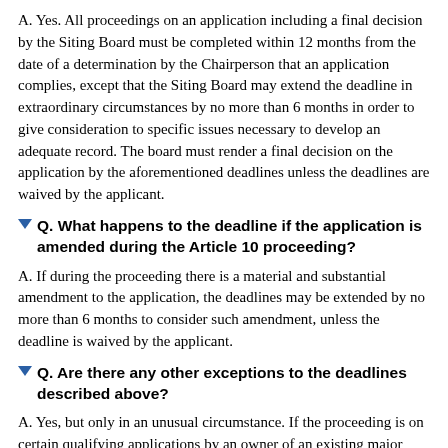A. Yes. All proceedings on an application including a final decision by the Siting Board must be completed within 12 months from the date of a determination by the Chairperson that an application complies, except that the Siting Board may extend the deadline in extraordinary circumstances by no more than 6 months in order to give consideration to specific issues necessary to develop an adequate record. The board must render a final decision on the application by the aforementioned deadlines unless the deadlines are waived by the applicant.
Q. What happens to the deadline if the application is amended during the Article 10 proceeding?
A. If during the proceeding there is a material and substantial amendment to the application, the deadlines may be extended by no more than 6 months to consider such amendment, unless the deadline is waived by the applicant.
Q. Are there any other exceptions to the deadlines described above?
A. Yes, but only in an unusual circumstance. If the proceeding is on certain qualifying applications by an owner of an existing major electric generating facility to modify that facility or site a new